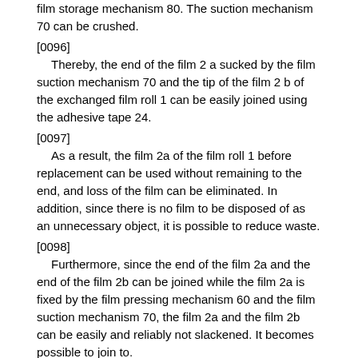film storage mechanism 80. The suction mechanism 70 can be crushed.
[0096]
Thereby, the end of the film 2 a sucked by the film suction mechanism 70 and the tip of the film 2 b of the exchanged film roll 1 can be easily joined using the adhesive tape 24.
[0097]
As a result, the film 2a of the film roll 1 before replacement can be used without remaining to the end, and loss of the film can be eliminated. In addition, since there is no film to be disposed of as an unnecessary object, it is possible to reduce waste.
[0098]
Furthermore, since the end of the film 2a and the end of the film 2b can be joined while the film 2a is fixed by the film pressing mechanism 60 and the film suction mechanism 70, the film 2a and the film 2b can be easily and reliably not slackened. It becomes possible to join to.
[0099]
In this embodiment, the film 2 is bonded using the adhesive tape 24, but the film 2 can also be bonded by thermal fusion. For example, in the film suction mechanism 70 instead of the adhesive tape, the